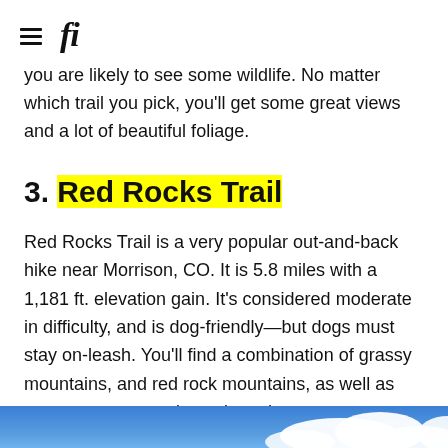fi
you are likely to see some wildlife. No matter which trail you pick, you'll get some great views and a lot of beautiful foliage.
3. Red Rocks Trail
Red Rocks Trail is a very popular out-and-back hike near Morrison, CO. It is 5.8 miles with a 1,181 ft. elevation gain. It's considered moderate in difficulty, and is dog-friendly—but dogs must stay on-leash. You'll find a combination of grassy mountains, and red rock mountains, as well as some stream crossings along the way.
[Figure (photo): Blue sky with white clouds visible at the bottom of the page]